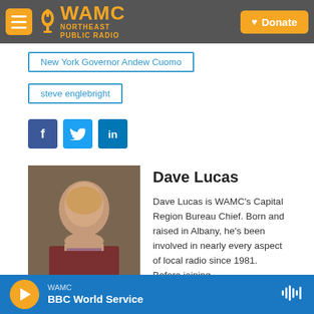WAMC Northeast Public Radio — Donate
New York Governor Andew Cuomo
steve englebright
[Figure (other): Social share buttons: Facebook, Twitter, LinkedIn]
[Figure (photo): Headshot photo of Dave Lucas]
Dave Lucas
Dave Lucas is WAMC's Capital Region Bureau Chief. Born and raised in Albany, he's been involved in nearly every aspect of local radio since 1981. Before joining
WAMC — BBC World Service